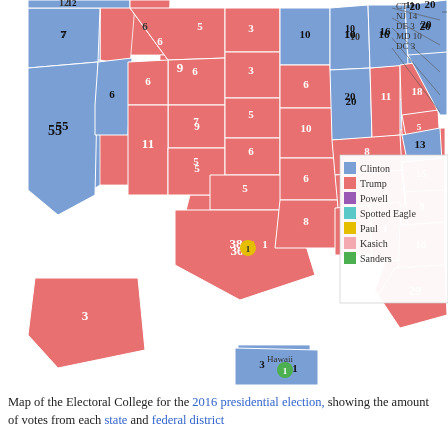[Figure (map): Map of the Electoral College for the 2016 presidential election, color-coded by winner (Clinton=blue, Trump=red, with small numbers showing electoral votes per state). Legend shows Clinton, Trump, Powell, Spotted Eagle, Paul, Kasich, Sanders.]
Map of the Electoral College for the 2016 presidential election, showing the amount of votes from each state and federal district
The number of electors each state has is determined by the number of representatives a state has, plus its two senators. No state can have fewer than three electors. There are 435 representatives in total and 100 senators. The 23rd Amendment to the Constitution awarded Washington, D.C. three electors. Combined, there is a total of 538 electors.
Electors usually vote for the winner of the popular vote in